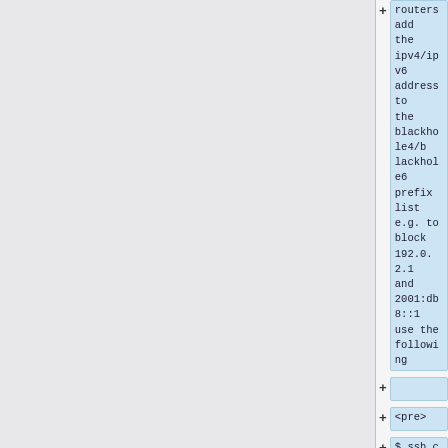routers add the ipv4/ipv6 address to the blackhole4/blackhole6 prefix list e.g. to block 192.0.2.1 and 2001:db8::1 use the following
<pre>
$ ssh cr1-eqiad.wikimedia.org